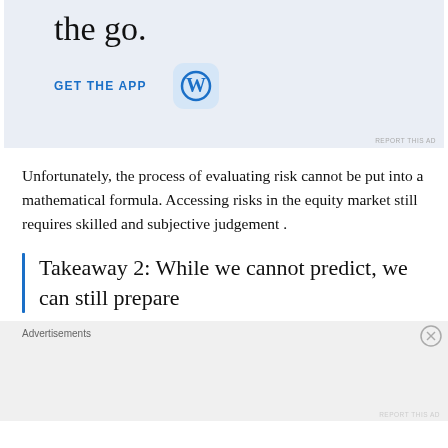[Figure (screenshot): WordPress app advertisement banner with 'the go.' large text, 'GET THE APP' link in blue, and WordPress 'W' icon on light blue background]
Unfortunately, the process of evaluating risk cannot be put into a mathematical formula. Accessing risks in the equity market still requires skilled and subjective judgement .
Takeaway 2: While we cannot predict, we can still prepare
Advertisements